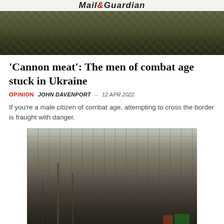[Figure (photo): Soldiers in camouflage uniforms, photo from Mail & Guardian news website header]
'Cannon meat': The men of combat age stuck in Ukraine
OPINION  JOHN DAVENPORT  -  12 APR 2022
If you're a male citizen of combat age, attempting to cross the border is fraught with danger.
[Figure (photo): Destroyed multi-story apartment building, heavily damaged by bombardment, with bare trees in foreground and playground equipment at lower right]